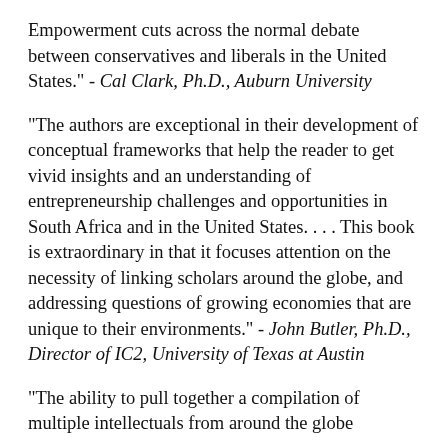Empowerment cuts across the normal debate between conservatives and liberals in the United States." - Cal Clark, Ph.D., Auburn University
"The authors are exceptional in their development of conceptual frameworks that help the reader to get vivid insights and an understanding of entrepreneurship challenges and opportunities in South Africa and in the United States. . . . This book is extraordinary in that it focuses attention on the necessity of linking scholars around the globe, and addressing questions of growing economies that are unique to their environments." - John Butler, Ph.D., Director of IC2, University of Texas at Austin
"The ability to pull together a compilation of multiple intellectuals from around the globe